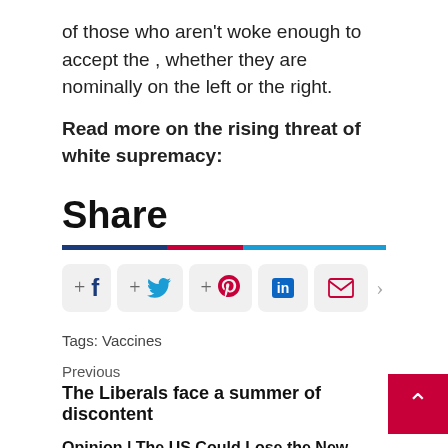of those who aren't woke enough to accept the , whether they are nominally on the left or the right.
Read more on the rising threat of white supremacy:
Share
[Figure (infographic): Social share buttons row: Facebook, Twitter, Pinterest, LinkedIn, Email with plus icons and a tricolor divider bar (dark blue, red, light blue)]
Tags: Vaccines
Previous
The Liberals face a summer of discontent
Opinion | The US Could Lose the New Cold War with